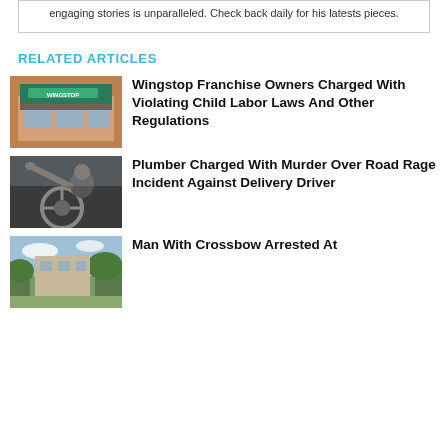engaging stories is unparalleled. Check back daily for his latests pieces.
RELATED ARTICLES
[Figure (photo): Wingstop restaurant storefront exterior]
Wingstop Franchise Owners Charged With Violating Child Labor Laws And Other Regulations
[Figure (photo): Man driving a car viewed from passenger seat, road rage scene]
Plumber Charged With Murder Over Road Rage Incident Against Delivery Driver
[Figure (photo): Outdoor scene with trees and building, crossbow arrest location]
Man With Crossbow Arrested At